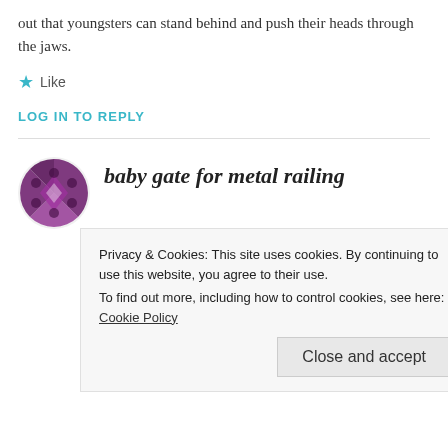out that youngsters can stand behind and push their heads through the jaws.
★ Like
LOG IN TO REPLY
baby gate for metal railing
APRIL 4, 2017 AT 4:50 AM
Safety gate for youngster is actually a device
Privacy & Cookies: This site uses cookies. By continuing to use this website, you agree to their use.
To find out more, including how to control cookies, see here: Cookie Policy
Close and accept